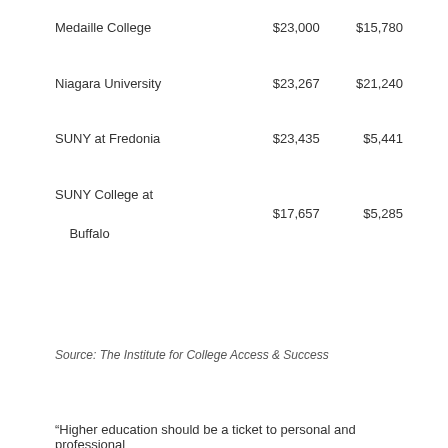| Medaille College | $23,000 | $15,780 |
| Niagara University | $23,267 | $21,240 |
| SUNY at Fredonia | $23,435 | $5,441 |
| SUNY College at Buffalo | $17,657 | $5,285 |
Source: The Institute for College Access & Success
"Higher education should be a ticket to personal and professional